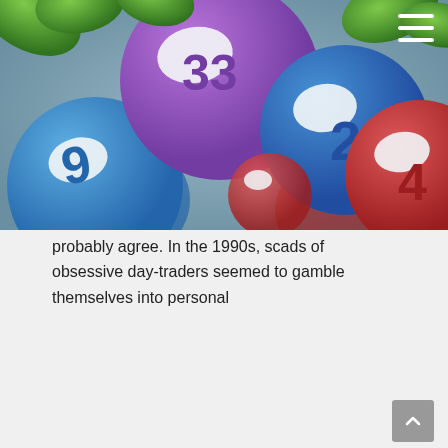[Figure (photo): Colorful lottery balls with numbers, including a purple ball with 33, red, blue, and white balls scattered together]
A Different Kind of Lottery Ticket
Blog, Current Events, General Planning, Investing • By Paul Fain, CFP® • January 24, 2016
After the worst yearly start for stocks in history, many investors are feeling some concern. That old myth resurfaces, "Investing in stocks is just like gambling." Investing in stock is a lot like buying a lottery ticket. Gambling addicts would probably agree. In the 1990s, scads of obsessive day-traders seemed to gamble themselves into personal